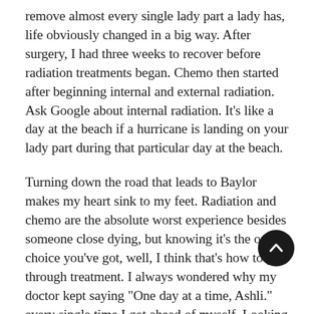remove almost every single lady part a lady has, life obviously changed in a big way. After surgery, I had three weeks to recover before radiation treatments began. Chemo then started after beginning internal and external radiation. Ask Google about internal radiation. It’s like a day at the beach if a hurricane is landing on your lady part during that particular day at the beach.
Turning down the road that leads to Baylor makes my heart sink to my feet. Radiation and chemo are the absolute worst experience besides someone close dying, but knowing it’s the only choice you’ve got, well, I think that’s how to get through treatment. I always wondered why my doctor kept saying “One day at a time, Ashli.” every single time I got ahead of myself. Looking back on the entire experience, it makes perfect sense that it is important to take having cancer one day at a time. If not, the journey is mentally